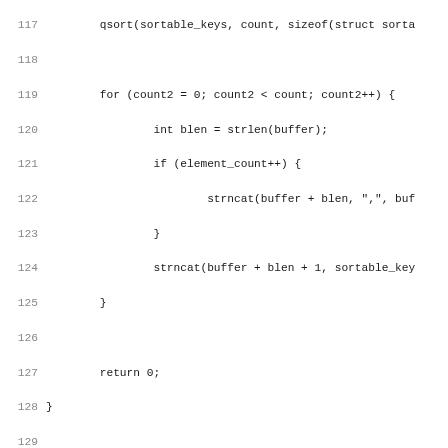Source code listing, lines 117-148, C programming language